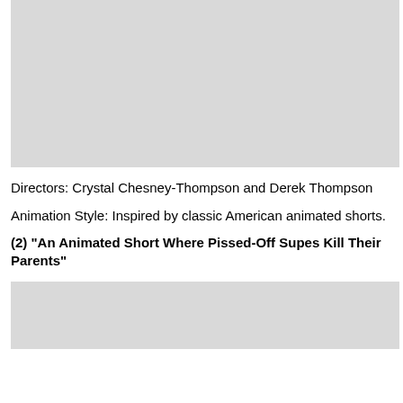[Figure (photo): Large grey placeholder image at top of page]
Directors: Crystal Chesney-Thompson and Derek Thompson
Animation Style: Inspired by classic American animated shorts.
(2) "An Animated Short Where Pissed-Off Supes Kill Their Parents"
[Figure (photo): Grey placeholder image at bottom of page, partially visible]